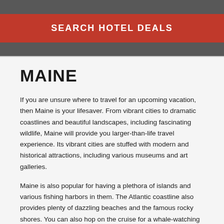[Figure (other): Red button with text SEARCH HOTEL DEALS on a dark grey background bar]
MAINE
If you are unsure where to travel for an upcoming vacation, then Maine is your lifesaver. From vibrant cities to dramatic coastlines and beautiful landscapes, including fascinating wildlife, Maine will provide you larger-than-life travel experience. Its vibrant cities are stuffed with modern and historical attractions, including various museums and art galleries.
Maine is also popular for having a plethora of islands and various fishing harbors in them. The Atlantic coastline also provides plenty of dazzling beaches and the famous rocky shores. You can also hop on the cruise for a whale-watching activity. On the other hand, the rugged landscape and beautiful coastal stretch of Acadia National Park is heaven